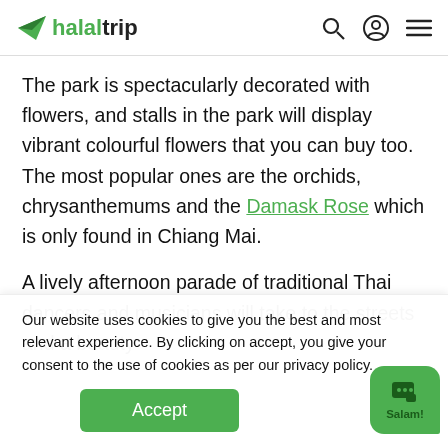halaltrip
The park is spectacularly decorated with flowers, and stalls in the park will display vibrant colourful flowers that you can buy too. The most popular ones are the orchids, chrysanthemums and the Damask Rose which is only found in Chiang Mai.
A lively afternoon parade of traditional Thai dancers and musicians will take to the streets and a beauty
Our website uses cookies to give you the best and most relevant experience. By clicking on accept, you give your consent to the use of cookies as per our privacy policy.